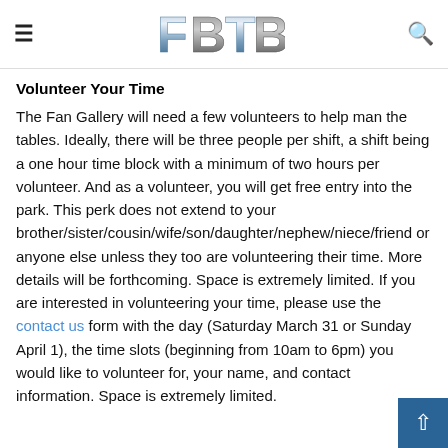FBTB
Volunteer Your Time
The Fan Gallery will need a few volunteers to help man the tables. Ideally, there will be three people per shift, a shift being a one hour time block with a minimum of two hours per volunteer. And as a volunteer, you will get free entry into the park. This perk does not extend to your brother/sister/cousin/wife/son/daughter/nephew/niece/friend or anyone else unless they too are volunteering their time. More details will be forthcoming. Space is extremely limited. If you are interested in volunteering your time, please use the contact us form with the day (Saturday March 31 or Sunday April 1), the time slots (beginning from 10am to 6pm) you would like to volunteer for, your name, and contact information. Space is extremely limited.